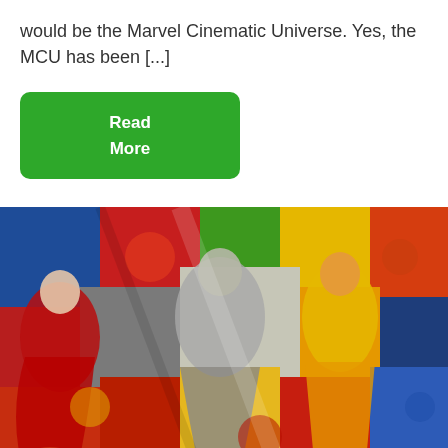would be the Marvel Cinematic Universe. Yes, the MCU has been [...]
Read More
[Figure (illustration): A colorful comic book collage featuring numerous Marvel superheroes in dynamic action poses, with reds, yellows, blues, and greens dominating the image. Characters appear to include various Marvel heroes in classic comic art style.]